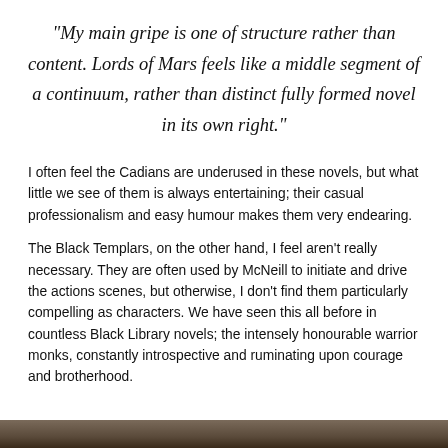“My main gripe is one of structure rather than content. Lords of Mars feels like a middle segment of a continuum, rather than distinct fully formed novel in its own right.”
I often feel the Cadians are underused in these novels, but what little we see of them is always entertaining; their casual professionalism and easy humour makes them very endearing.
The Black Templars, on the other hand, I feel aren’t really necessary. They are often used by McNeill to initiate and drive the actions scenes, but otherwise, I don’t find them particularly compelling as characters. We have seen this all before in countless Black Library novels; the intensely honourable warrior monks, constantly introspective and ruminating upon courage and brotherhood.
[Figure (photo): A partial image strip at the bottom of the page showing a dark, atmospheric scene.]